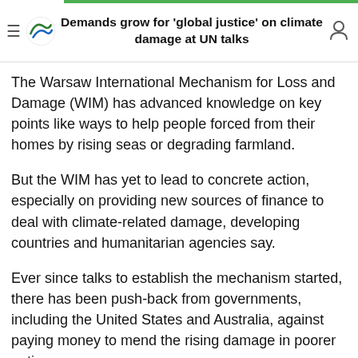Demands grow for 'global justice' on climate damage at UN talks
The Warsaw International Mechanism for Loss and Damage (WIM) has advanced knowledge on key points like ways to help people forced from their homes by rising seas or degrading farmland.
But the WIM has yet to lead to concrete action, especially on providing new sources of finance to deal with climate-related damage, developing countries and humanitarian agencies say.
Ever since talks to establish the mechanism started, there has been push-back from governments, including the United States and Australia, against paying money to mend the rising damage in poorer nations.
That is despite rich countries having emitted, over the decades, most of the heat-trapping gases that are